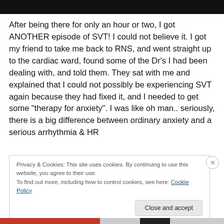[Figure (screenshot): Black navigation bar at the top of the webpage]
After being there for only an hour or two, I got ANOTHER episode of SVT! I could not believe it. I got my friend to take me back to RNS, and went straight up to the cardiac ward, found some of the Dr’s I had been dealing with, and told them. They sat with me and explained that I could not possibly be experiencing SVT again because they had fixed it, and I needed to get some “therapy for anxiety”. I was like oh man.. seriously, there is a big difference between ordinary anxiety and a serious arrhythmia & HR
Privacy & Cookies: This site uses cookies. By continuing to use this website, you agree to their use.
To find out more, including how to control cookies, see here: Cookie Policy
Close and accept